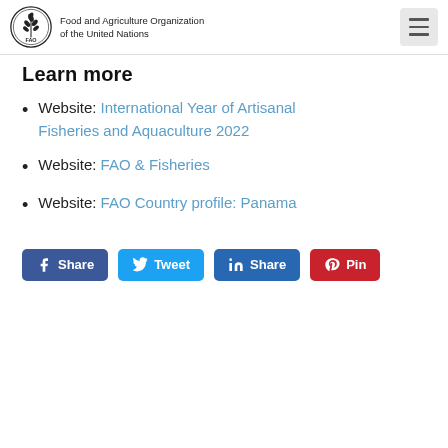Food and Agriculture Organization of the United Nations
Learn more
Website: International Year of Artisanal Fisheries and Aquaculture 2022
Website: FAO & Fisheries
Website: FAO Country profile: Panama
[Figure (infographic): Social sharing buttons: Facebook Share, Twitter Tweet, LinkedIn Share, Pinterest Pin]